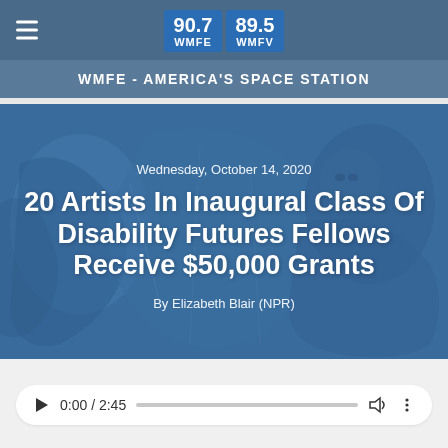90.7 WMFE / 89.5 WMFV — WMFE - AMERICA'S SPACE STATION
[Figure (photo): Blue-tinted artwork showing a person painting or working on an illustration, serving as hero image background for the article]
Wednesday, October 14, 2020
20 Artists In Inaugural Class Of Disability Futures Fellows Receive $50,000 Grants
By Elizabeth Blair (NPR)
0:00 / 2:45